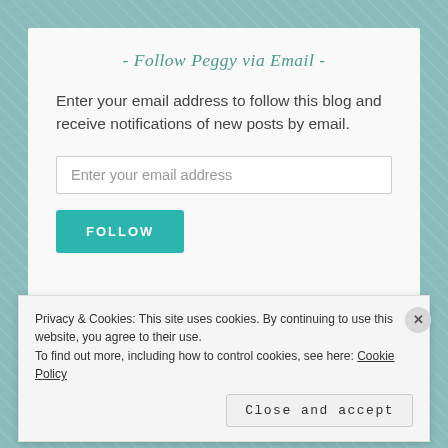- Follow Peggy via Email -
Enter your email address to follow this blog and receive notifications of new posts by email.
Enter your email address
FOLLOW
[Figure (screenshot): Partial preview of a blog post image strip at the bottom of the widget]
Privacy & Cookies: This site uses cookies. By continuing to use this website, you agree to their use.
To find out more, including how to control cookies, see here: Cookie Policy
Close and accept